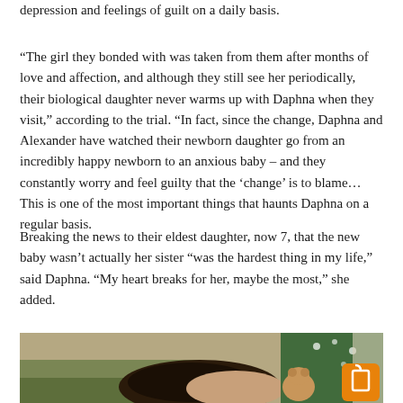depression and feelings of guilt on a daily basis.
“The girl they bonded with was taken from them after months of love and affection, and although they still see her periodically, their biological daughter never warms up with Daphna when they visit,” according to the trial. “In fact, since the change, Daphna and Alexander have watched their newborn daughter go from an incredibly happy newborn to an anxious baby – and they constantly worry and feel guilty that the ‘change’ is to blame… This is one of the most important things that haunts Daphna on a regular basis.
Breaking the news to their eldest daughter, now 7, that the new baby wasn’t actually her sister “was the hardest thing in my life,” said Daphna. “My heart breaks for her, maybe the most,” she added.
[Figure (photo): A person lying down, partially obscured, with a green sofa and Christmas-themed decorations visible in the background including a green stocking with snowflake pattern and a teddy bear. An orange rounded-square button with a bookmark/share icon is visible in the bottom right corner.]